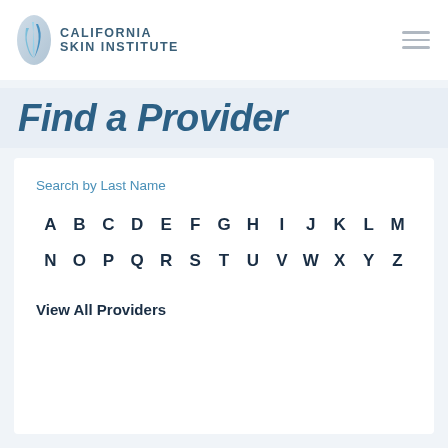[Figure (logo): California Skin Institute logo with stylized blue droplet/flame icon and text 'CALIFORNIA SKIN INSTITUTE']
Find a Provider
Search by Last Name
A B C D E F G H I J K L M
N O P Q R S T U V W X Y Z
View All Providers